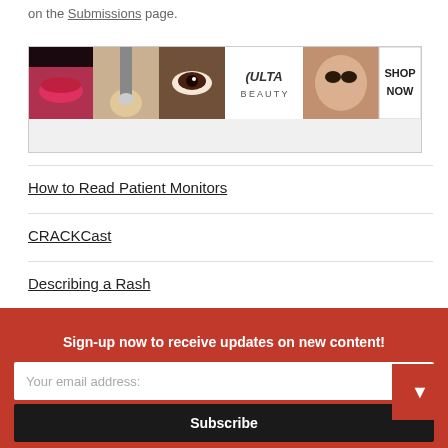on the Submissions page.
[Figure (photo): ULTA beauty advertisement banner with makeup imagery and 'SHOP NOW' call to action]
How to Read Patient Monitors
CRACKCast
Describing a Rash
Pacemaker Essentials: How to Interpret a Pacemaker ECG
Sign-up now to receive updates on new content!
Your email address:
Subscribe